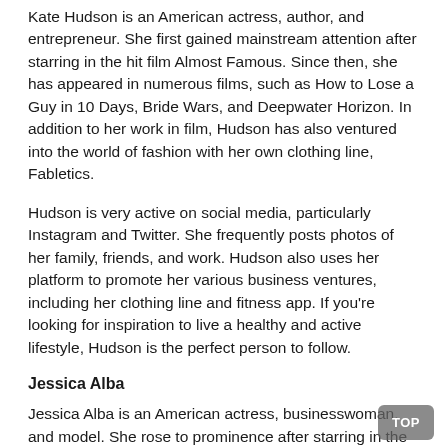Kate Hudson is an American actress, author, and entrepreneur. She first gained mainstream attention after starring in the hit film Almost Famous. Since then, she has appeared in numerous films, such as How to Lose a Guy in 10 Days, Bride Wars, and Deepwater Horizon. In addition to her work in film, Hudson has also ventured into the world of fashion with her own clothing line, Fabletics.
Hudson is very active on social media, particularly Instagram and Twitter. She frequently posts photos of her family, friends, and work. Hudson also uses her platform to promote her various business ventures, including her clothing line and fitness app. If you're looking for inspiration to live a healthy and active lifestyle, Hudson is the perfect person to follow.
Jessica Alba
Jessica Alba is an American actress, businesswoman, and model. She rose to prominence after starring in the hit television show Dark Angel. Since then, she has appeared in numerous films, such as Fantastic Four, Sin City, and Machete. In addition to her work in front of the camera, Alba is also the